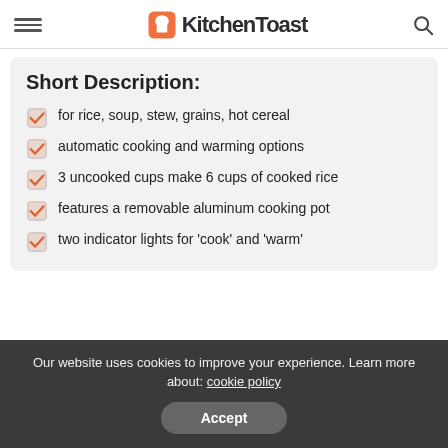KitchenToast
Short Description:
for rice, soup, stew, grains, hot cereal
automatic cooking and warming options
3 uncooked cups make 6 cups of cooked rice
features a removable aluminum cooking pot
two indicator lights for 'cook' and 'warm'
Our website uses cookies to improve your experience. Learn more about: cookie policy
Accept